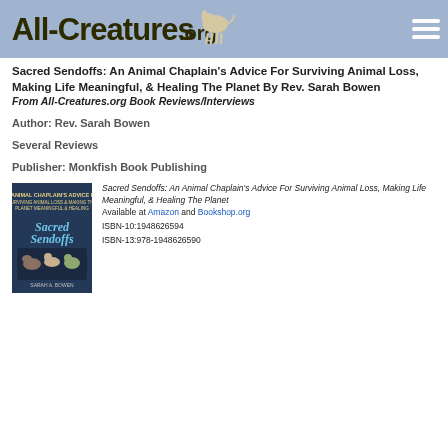All-Creatures.org
Sacred Sendoffs: An Animal Chaplain's Advice For Surviving Animal Loss, Making Life Meaningful, & Healing The Planet By Rev. Sarah Bowen
From All-Creatures.org Book Reviews/Interviews
Author: Rev. Sarah Bowen
Several Reviews
Publisher: Monkfish Book Publishing
[Figure (photo): Book cover of Sacred Sendoffs by Sarah A. Bowen, showing animals on a dark blue background]
Sacred Sendoffs: An Animal Chaplain's Advice For Surviving Animal Loss, Making Life Meaningful, & Healing The Planet
Available at Amazon and Bookshop.org
ISBN-10:1948626594
ISBN-13:978-1948626590